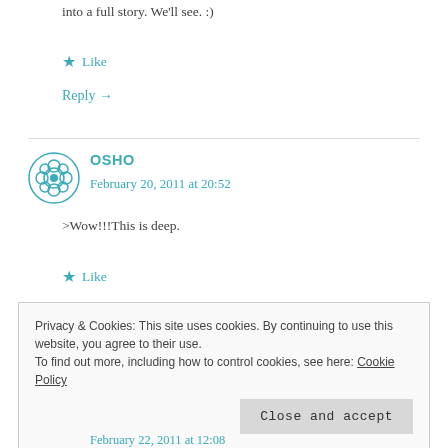into a full story. We'll see. :)
★ Like
Reply →
OSHO
February 20, 2011 at 20:52
>Wow!!!This is deep.
★ Like
Privacy & Cookies: This site uses cookies. By continuing to use this website, you agree to their use.
To find out more, including how to control cookies, see here: Cookie Policy
Close and accept
February 22, 2011 at 12:08